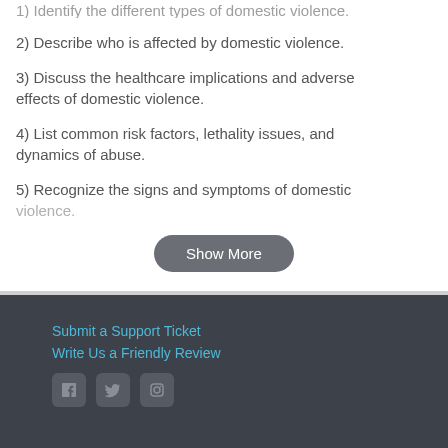1) Identify the different types of domestic violence.
2) Describe who is affected by domestic violence.
3) Discuss the healthcare implications and adverse effects of domestic violence.
4) List common risk factors, lethality issues, and dynamics of abuse.
5) Recognize the signs and symptoms of domestic violence.
Show More
Submit a Support Ticket
Write Us a Friendly Review